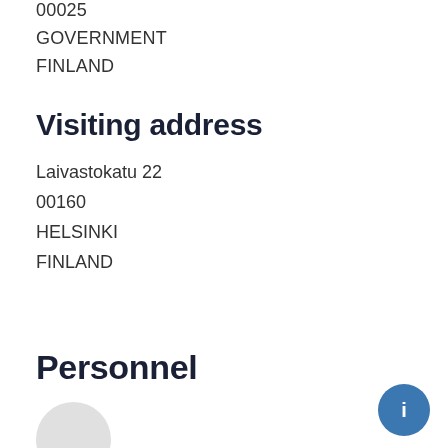00025
GOVERNMENT
FINLAND
Visiting address
Laivastokatu 22
00160
HELSINKI
FINLAND
Personnel
[Figure (illustration): Gray circular avatar placeholder for a person]